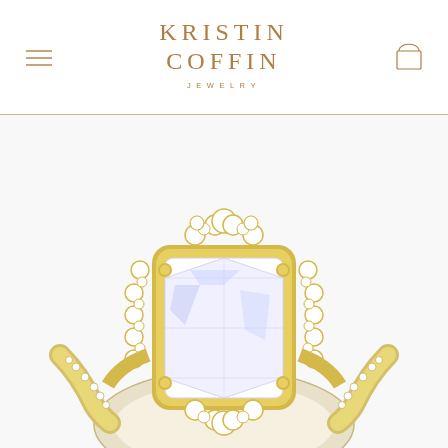KRISTIN COFFIN JEWELRY
[Figure (photo): Close-up photo of a diamond engagement ring featuring a large radiant-cut center stone surrounded by a halo of round diamonds set in yellow gold, with pavé diamonds along the band.]